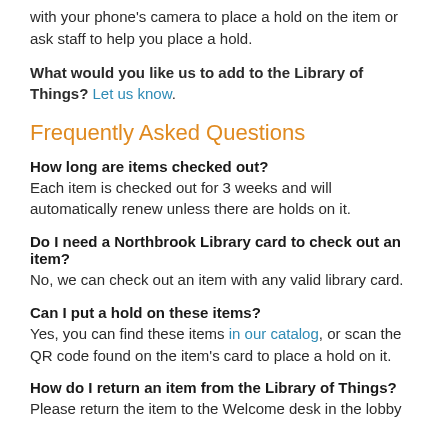with your phone's camera to place a hold on the item or ask staff to help you place a hold.
What would you like us to add to the Library of Things? Let us know.
Frequently Asked Questions
How long are items checked out?
Each item is checked out for 3 weeks and will automatically renew unless there are holds on it.
Do I need a Northbrook Library card to check out an item?
No, we can check out an item with any valid library card.
Can I put a hold on these items?
Yes, you can find these items in our catalog, or scan the QR code found on the item's card to place a hold on it.
How do I return an item from the Library of Things?
Please return the item to the Welcome desk in the lobby